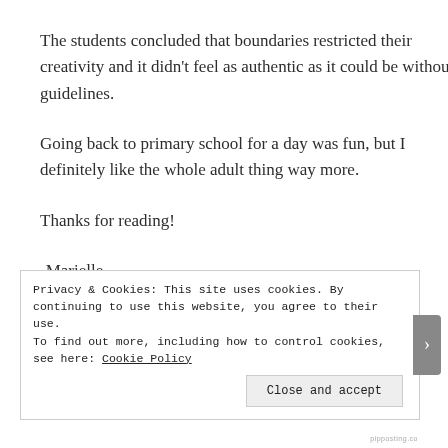The students concluded that boundaries restricted their creativity and it didn't feel as authentic as it could be without guidelines.
Going back to primary school for a day was fun, but I definitely like the whole adult thing way more.
Thanks for reading!
-Marielle
Privacy & Cookies: This site uses cookies. By continuing to use this website, you agree to their use.
To find out more, including how to control cookies, see here: Cookie Policy
Close and accept